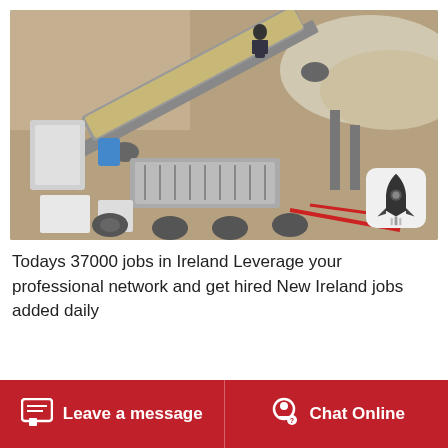[Figure (photo): Aerial/overhead view of industrial stone crushing or screening machinery at a construction or quarry site. Heavy equipment with conveyor belts, a person visible in the upper portion, gravel and aggregate material being processed. A rocket/send icon badge is overlaid in the bottom right corner of the image.]
Todays 37000 jobs in Ireland Leverage your professional network and get hired New Ireland jobs added daily
Leave a message   Chat Online